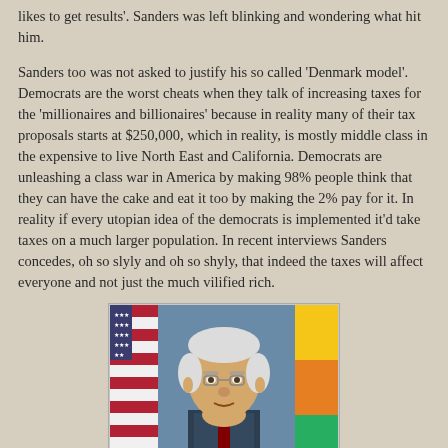likes to get results'. Sanders was left blinking and wondering what hit him.
Sanders too was not asked to justify his so called 'Denmark model'. Democrats are the worst cheats when they talk of increasing taxes for the 'millionaires and billionaires' because in reality many of their tax proposals starts at $250,000, which in reality, is mostly middle class in the expensive to live North East and California. Democrats are unleashing a class war in America by making 98% people think that they can have the cake and eat it too by making the 2% pay for it. In reality if every utopian idea of the democrats is implemented it'd take taxes on a much larger population. In recent interviews Sanders concedes, oh so slyly and oh so shyly, that indeed the taxes will affect everyone and not just the much vilified rich.
[Figure (photo): Photograph of an elderly white-haired man (Bernie Sanders) with an American flag on the left and another flag on the right, against a blue background.]